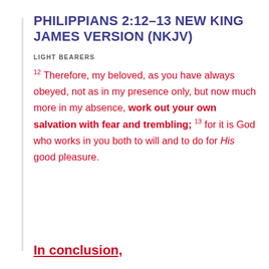PHILIPPIANS 2:12-13 NEW KING JAMES VERSION (NKJV)
LIGHT BEARERS
12 Therefore, my beloved, as you have always obeyed, not as in my presence only, but now much more in my absence, work out your own salvation with fear and trembling; 13 for it is God who works in you both to will and to do for His good pleasure.
In conclusion,